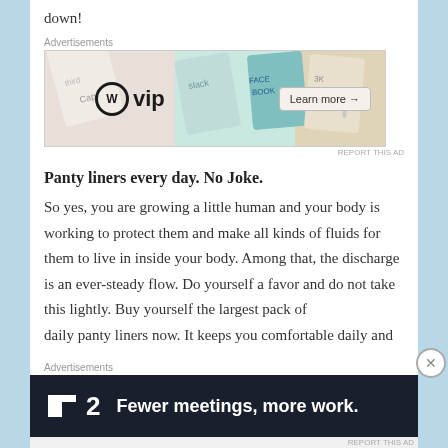down!
[Figure (other): Advertisement banner for WordPress VIP showing logos of various brands (Slack, Facebook, etc.) with a 'Learn more →' button]
Panty liners every day. No Joke.
So yes, you are growing a little human and your body is working to protect them and make all kinds of fluids for them to live in inside your body. Among that, the discharge is an ever-steady flow. Do yourself a favor and do not take this lightly. Buy yourself the largest pack of daily panty liners now. It keeps you comfortable daily and
[Figure (other): Advertisement banner for Basecamp (now 37signals) with text 'Fewer meetings, more work.' on dark background]